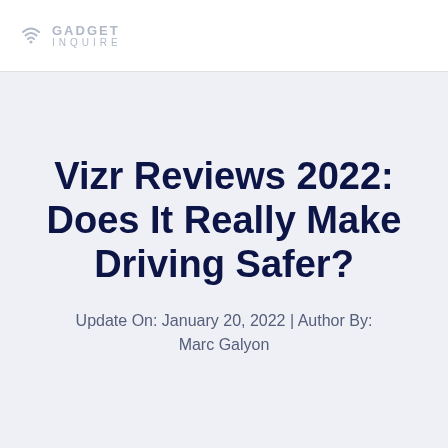GADGET INQUIRE
Vizr Reviews 2022: Does It Really Make Driving Safer?
Update On: January 20, 2022 | Author By: Marc Galyon